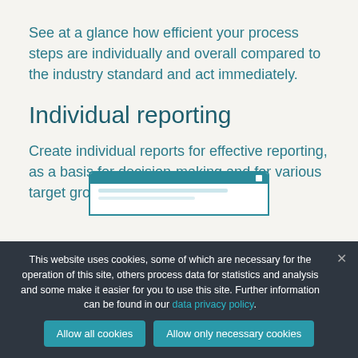See at a glance how efficient your process steps are individually and overall compared to the industry standard and act immediately.
Individual reporting
Create individual reports for effective reporting, as a basis for decision-making and for various target groups in your company.
[Figure (screenshot): Partial screenshot of a dashboard or reporting interface with a teal top bar and content lines below.]
This website uses cookies, some of which are necessary for the operation of this site, others process data for statistics and analysis and some make it easier for you to use this site. Further information can be found in our data privacy policy.
Allow all cookies
Allow only necessary cookies